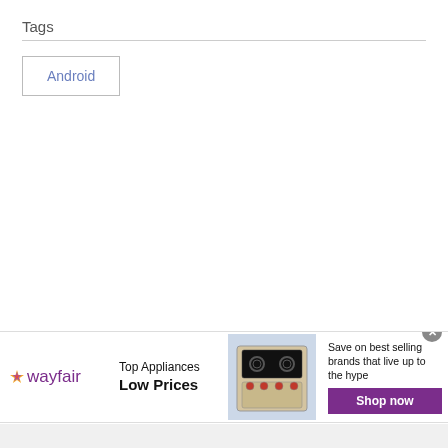Tags
Android
[Figure (other): Wayfair advertisement banner showing Top Appliances Low Prices with an image of a stove/range and Shop now button]